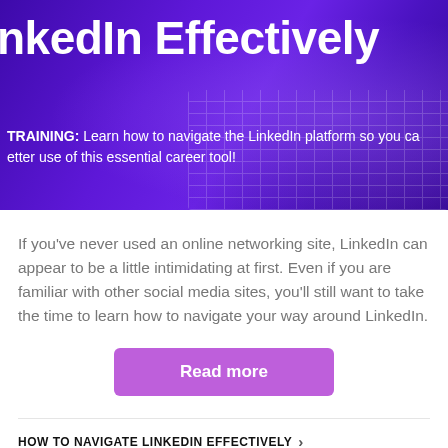[Figure (photo): Purple-tinted hero banner with overlaid text showing hands on a laptop keyboard, promoting LinkedIn navigation training.]
nkedIn Effectively
TRAINING: Learn how to navigate the LinkedIn platform so you can make better use of this essential career tool!
If you've never used an online networking site, LinkedIn can appear to be a little intimidating at first. Even if you are familiar with other social media sites, you'll still want to take the time to learn how to navigate your way around LinkedIn.
Read more
HOW TO NAVIGATE LINKEDIN EFFECTIVELY ›